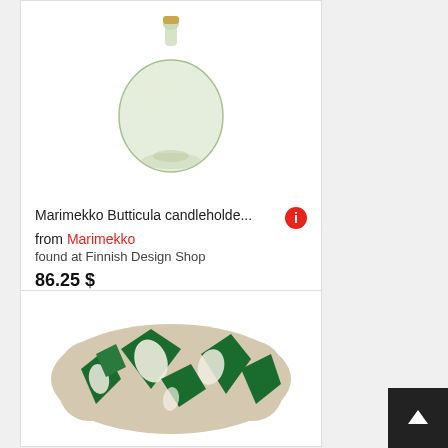[Figure (photo): Marimekko Butticula glass candleholder, round green-tinted glass body with narrow neck and small brass top]
Marimekko Butticula candleholde... from Marimekko
found at Finnish Design Shop
86.25 $
Shipping costs: 21.30 $
[Figure (photo): Decorative pillow/cushion with green botanical leaf pattern on beige/cream background]